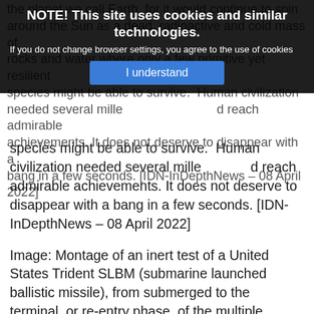the planet we call Earth, for it would continue to spin around the Sun as a dead, radioactive and cold mass of rocks and water where only a few primitive yet resilient species might be able to survive. Human civilization needed several millennia to reach admirable achievements. It does not deserve to disappear with a bang in a few seconds. [IDN-InDepthNews – 08 April 2022]
NOTE! This site uses cookies and similar technologies.
If you do not change browser settings, you agree to the use of cookies
I understand
Image: Montage of an inert test of a United States Trident SLBM (submarine launched ballistic missile), from submerged to the terminal, or re-entry phase, of the multiple independently targetable reentry vehicles. Source: Wikimedia Commons
IDN is the flagship agency of the Non-profit International Press Syndicate.
Visit us on Facebook and Twitter.
This article was produced as a part of the joint media project between The Non-profit International Press